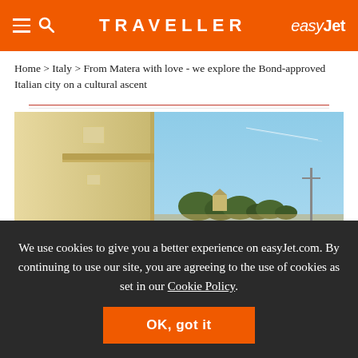TRAVELLER | easyJet
Home > Italy > From Matera with love - we explore the Bond-approved Italian city on a cultural ascent
[Figure (photo): Photograph of a building exterior with warm sandy/cream walls on the left side, and a bright blue sky on the right. Trees and a distant landscape are visible in the background, with a utility pole visible. The scene appears to be Matera, Italy.]
We use cookies to give you a better experience on easyJet.com. By continuing to use our site, you are agreeing to the use of cookies as set in our Cookie Policy.